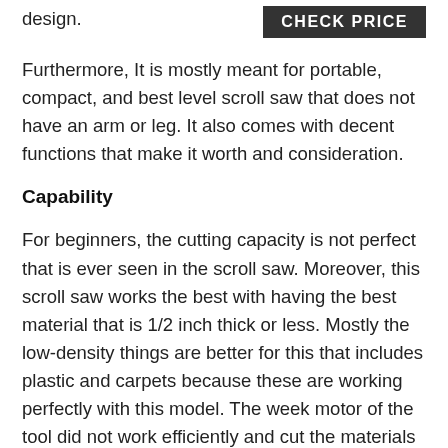design.
[Figure (other): CHECK PRICE button - dark grey/black rectangular button with white bold uppercase text reading CHECK PRICE]
Furthermore, It is mostly meant for portable, compact, and best level scroll saw that does not have an arm or leg. It also comes with decent functions that make it worth and consideration.
Capability
For beginners, the cutting capacity is not perfect that is ever seen in the scroll saw. Moreover, this scroll saw works the best with having the best material that is 1/2 inch thick or less. Mostly the low-density things are better for this that includes plastic and carpets because these are working perfectly with this model. The week motor of the tool did not work efficiently and cut the materials of your need accurately. That is